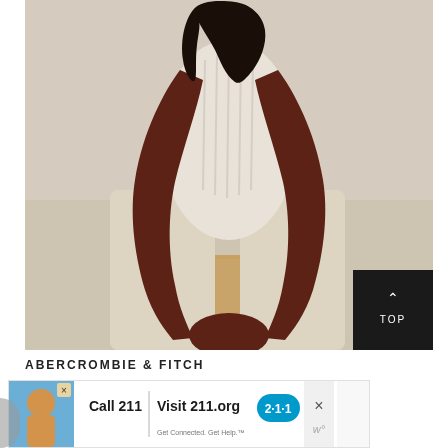[Figure (photo): Fashion photo of a dark-skinned model wearing a white cable-knit sleeveless top and light cream/white trousers, seated on a wooden block with arms extended downward and hands clasped together. Background is neutral beige/cream. A black 'TOP' button with an upward arrow is in the bottom-right corner of the image.]
ABERCROMBIE & FITCH
[Figure (screenshot): Advertisement banner: Child photo on left with blue background, bold text 'Call 211 | Visit 211.org' with a blue '2·1·1' badge logo. Close button (X) on right side. Partial circle/logo on far left.]